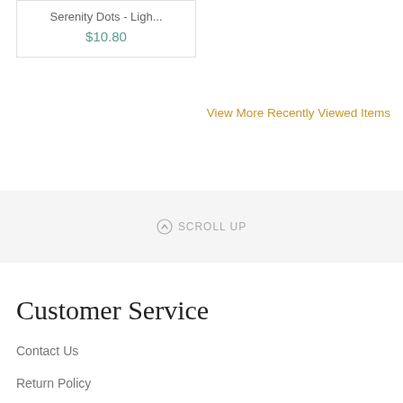Serenity Dots - Ligh...
$10.80
View More Recently Viewed Items
⊕ SCROLL UP
Customer Service
Contact Us
Return Policy